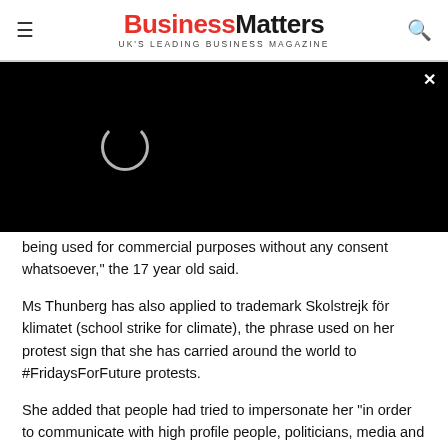Business Matters — UK'S LEADING BUSINESS MAGAZINE
[Figure (screenshot): Black video player with loading spinner and close button (×) in top right corner]
being used for commercial purposes without any consent whatsoever," the 17 year old said.
Ms Thunberg has also applied to trademark Skolstrejk för klimatet (school strike for climate), the phrase used on her protest sign that she has carried around the world to #FridaysForFuture protests.
She added that people had tried to impersonate her "in order to communicate with high profile people, politicians, media and artists".Northrop Grumman Technician/Operational Staff Jobs in Ashburn Apply Now
jobble.com